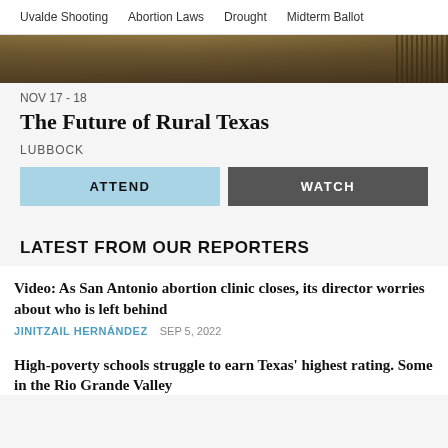Uvalde Shooting  Abortion Laws  Drought  Midterm Ballot
[Figure (photo): Horizontal strip of a dry Texas rural landscape with brown grassland and fence posts on the right side]
NOV 17 - 18
The Future of Rural Texas
LUBBOCK
ATTEND
WATCH
LATEST FROM OUR REPORTERS
Video: As San Antonio abortion clinic closes, its director worries about who is left behind
JINITZAIL HERNÁNDEZ   SEP 5, 2022
High-poverty schools struggle to earn Texas' highest rating. Some in the Rio Grande Valley